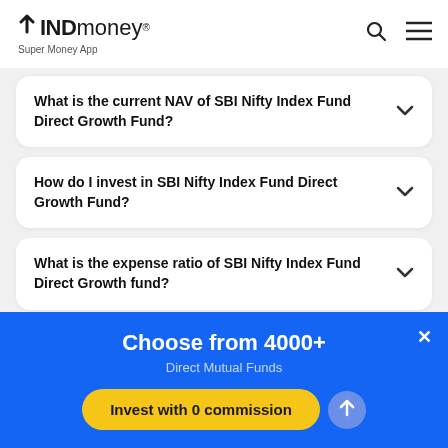INDmoney® Super Money App
What is the current NAV of SBI Nifty Index Fund Direct Growth Fund?
How do I invest in SBI Nifty Index Fund Direct Growth Fund?
What is the expense ratio of SBI Nifty Index Fund Direct Growth fund?
Choose from 4000+
Direct Mutual Funds
Invest with 0 commission